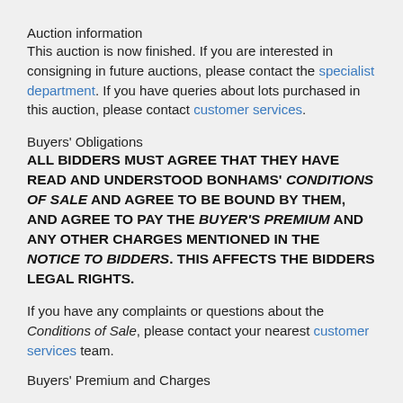Auction information
This auction is now finished. If you are interested in consigning in future auctions, please contact the specialist department. If you have queries about lots purchased in this auction, please contact customer services.
Buyers' Obligations
ALL BIDDERS MUST AGREE THAT THEY HAVE READ AND UNDERSTOOD BONHAMS' CONDITIONS OF SALE AND AGREE TO BE BOUND BY THEM, AND AGREE TO PAY THE BUYER'S PREMIUM AND ANY OTHER CHARGES MENTIONED IN THE NOTICE TO BIDDERS. THIS AFFECTS THE BIDDERS LEGAL RIGHTS.
If you have any complaints or questions about the Conditions of Sale, please contact your nearest customer services team.
Buyers' Premium and Charges